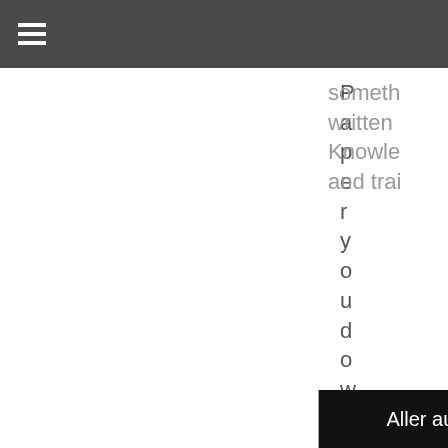≡
Paper you down. This set of stationery is perfect for writing letters to the fantasy fans or even make a hand made writing pad for them for an even bigger surprise! Ideal to practice writing words, short sentences for emergent readers, children name,
someth written Knowle and trai
Aller au haut